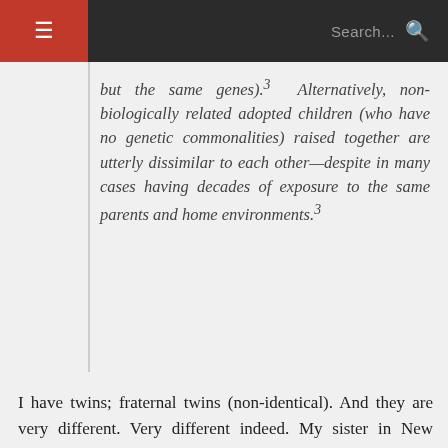☰  Search...  🔍
but the same genes).³ Alternatively, non-biologically related adopted children (who have no genetic commonalities) raised together are utterly dissimilar to each other—despite in many cases having decades of exposure to the same parents and home environments.³
I have twins; fraternal twins (non-identical). And they are very different. Very different indeed. My sister in New Zealand has twins who are also fraternal and they are very different indeed. So I think on that anecdotal evidence, I would agree!